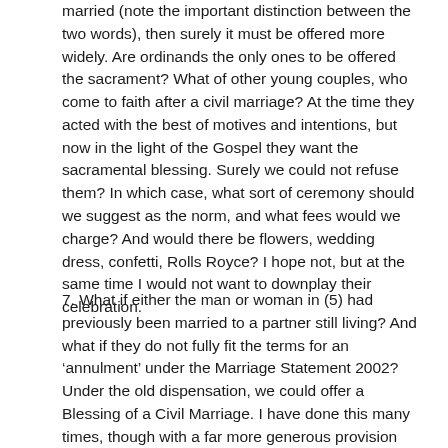married (note the important distinction between the two words), then surely it must be offered more widely. Are ordinands the only ones to be offered the sacrament? What of other young couples, who come to faith after a civil marriage? At the time they acted with the best of motives and intentions, but now in the light of the Gospel they want the sacramental blessing. Surely we could not refuse them? In which case, what sort of ceremony should we suggest as the norm, and what fees would we charge? And would there be flowers, wedding dress, confetti, Rolls Royce? I hope not, but at the same time I would not want to downplay their celebration.
7. What if either the man or woman in (5) had previously been married to a partner still living? And what if they do not fully fit the terms for an 'annulment' under the Marriage Statement 2002? Under the old dispensation, we could offer a Blessing of a Civil Marriage. I have done this many times, though with a far more generous provision than that provided by CW. This option would be no longer available;